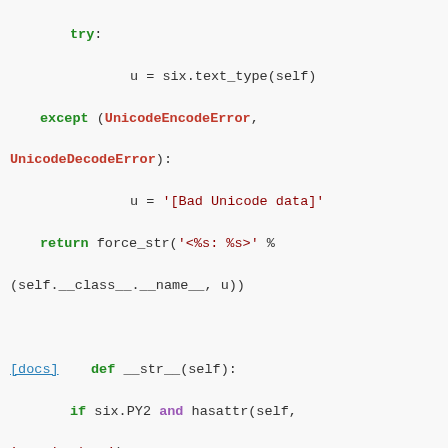try:
    u = six.text_type(self)
except (UnicodeEncodeError, UnicodeDecodeError):
    u = '[Bad Unicode data]'
return force_str('<%s: %s>' % (self.__class__.__name__, u))

[docs]    def __str__(self):
    if six.PY2 and hasattr(self, '__unicode__'):
        return force_text(self).encode('utf-8')
    return str('%s object' % self.__class__.__name__)

[docs]    def __eq__(self, other):
    if not isinstance(other, Model):
        return False
    if self._meta.concrete_model != other.meta.concrete_model: